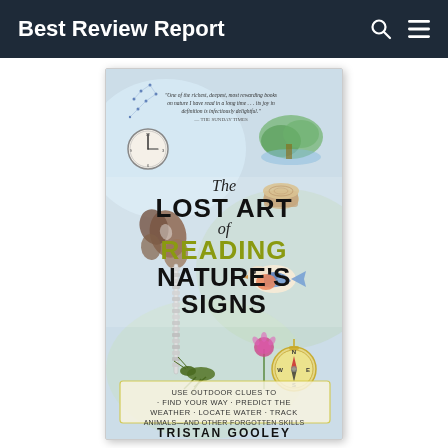Best Review Report
[Figure (photo): Book cover of 'The Lost Art of Reading Nature's Signs' by Tristan Gooley. The cover features illustrated nature elements including a butterfly, bird, grasshopper, compass, clock, tree stump, constellation, and flowers. Subtitle reads: Use Outdoor Clues to Find Your Way, Predict the Weather, Locate Water, Track Animals—and Other Forgotten Skills. A quote from The Sunday Times is shown at the top.]